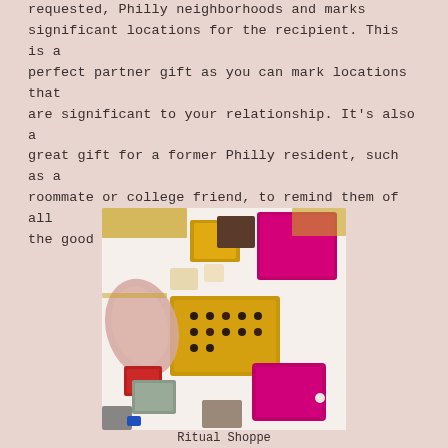requested, Philly neighborhoods and marks significant locations for the recipient. This is a perfect partner gift as you can mark locations that are significant to your relationship. It's also a great gift for a former Philly resident, such as a roommate or college friend, to remind them of all the good times you've had in the city.
[Figure (photo): Overhead flat-lay photo of colorful velvet jewelry boxes, ring display trays, and small accessories in pink, magenta, yellow, gold, and gray tones arranged on a white surface.]
Ritual Shoppe